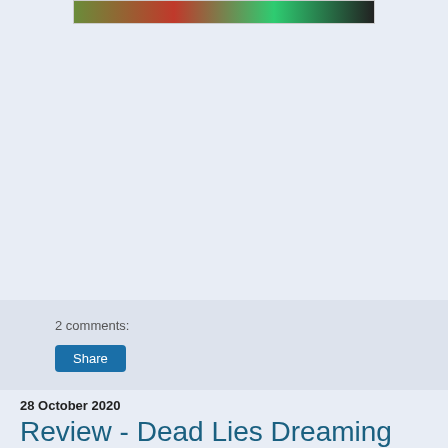[Figure (photo): Partial book cover or banner image strip with colorful imagery including green and red colors on dark background]
2 comments:
Share
28 October 2020
Review - Dead Lies Dreaming by Charles Stross